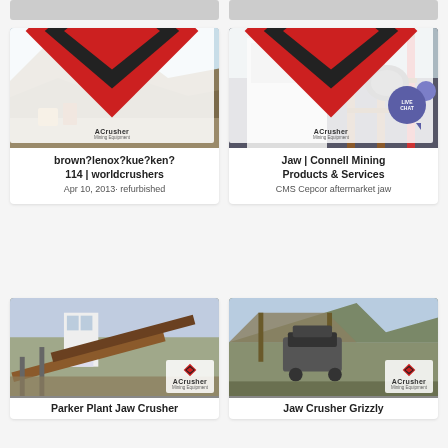[Figure (photo): Partial top stub of two cards showing quarry/mining equipment]
[Figure (photo): Mining quarry site with ACrusher logo — brown?lenox?kue?ken?114 | worldcrushers]
brown?lenox?kue?ken? 114 | worldcrushers
Apr 10, 2013· refurbished
[Figure (photo): Industrial crusher facility with ACrusher logo — Jaw | Connell Mining Products & Services]
Jaw | Connell Mining Products & Services
CMS Cepcor aftermarket jaw
[Figure (photo): Conveyor belt plant with ACrusher logo — Parker Plant Jaw Crusher]
Parker Plant Jaw Crusher
[Figure (photo): Jaw crusher on hillside with ACrusher logo — Jaw Crusher Grizzly]
Jaw Crusher Grizzly